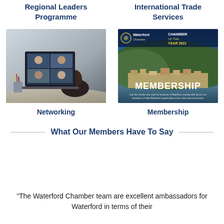Regional Leaders Programme
International Trade Services
[Figure (photo): Person viewing a video call on a laptop computer, showing multiple participants on screen]
Networking
[Figure (photo): Waterford Chamber membership brochure cover showing aerial view of Waterford city with text CHAMBER OF THE YEAR 2021 and MEMBERSHIP]
Membership
What Our Members Have To Say
“The Waterford Chamber team are excellent ambassadors for Waterford in terms of their